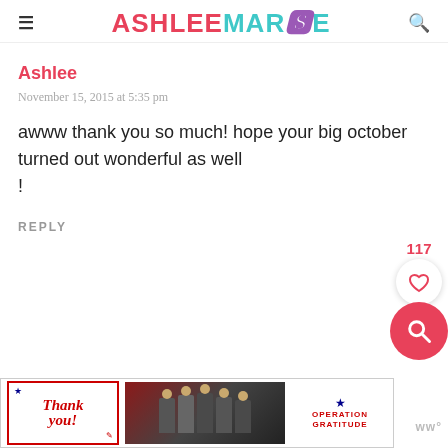ASHLEE MARIE
Ashlee
November 15, 2015 at 5:35 pm
awww thank you so much! hope your big october turned out wonderful as well
!
REPLY
[Figure (screenshot): Advertisement banner: Thank you text with Operation Gratitude logo and firefighters photo]